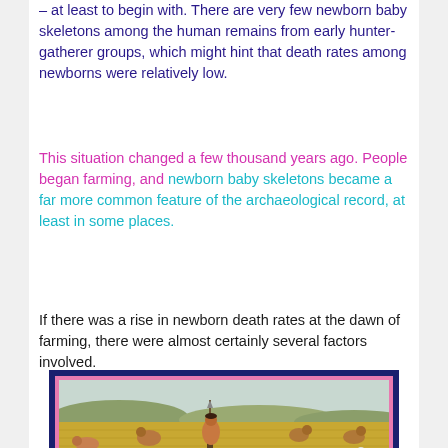– at least to begin with. There are very few newborn baby skeletons among the human remains from early hunter-gatherer groups, which might hint that death rates among newborns were relatively low.
This situation changed a few thousand years ago. People began farming, and newborn baby skeletons became a far more common feature of the archaeological record, at least in some places.
If there was a rise in newborn death rates at the dawn of farming, there were almost certainly several factors involved.
[Figure (photo): A photograph showing prehistoric farmers in a field with spears and animals (sheep/goats), depicting early agricultural life. The image has a dark navy blue outer border and a pink/magenta inner border.]